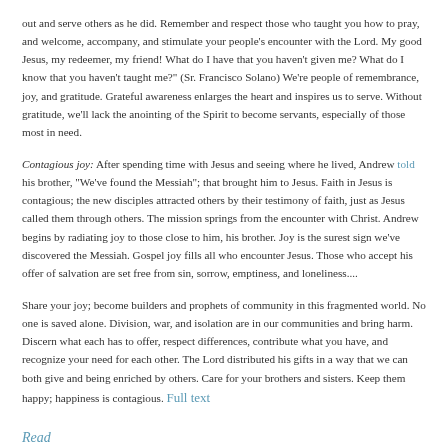out and serve others as he did.  Remember and respect those who taught you how to pray, and welcome, accompany, and stimulate your people's encounter with the Lord.  My good Jesus, my redeemer, my friend!  What do I have that you haven't given me?  What do I know that you haven't taught me?" (Sr. Francisco Solano)  We're people of remembrance, joy, and gratitude.  Grateful awareness enlarges the heart and inspires us to serve.  Without gratitude, we'll lack the anointing of the Spirit to become servants, especially of those most in need.
Contagious joy:  After spending time with Jesus and seeing where he lived, Andrew told his brother, "We've found the Messiah"; that brought him to Jesus.  Faith in Jesus is contagious; the new disciples attracted others by their testimony of faith, just as Jesus called them through others.  The mission springs from the encounter with Christ.  Andrew begins by radiating joy to those close to him, his brother.  Joy is the surest sign we've discovered the Messiah.  Gospel joy fills all who encounter Jesus.  Those who accept his offer of salvation are set free from sin, sorrow, emptiness, and loneliness....
Share your joy; become builders and prophets of community in this fragmented world.  No one is saved alone.  Division, war, and isolation are in our communities and bring harm. Discern what each has to offer, respect differences, contribute what you have, and recognize your need for each other.  The Lord distributed his gifts in a way that we can both give and being enriched by others.  Care for your brothers and sisters.  Keep them happy; happiness is contagious.  Full text
Read